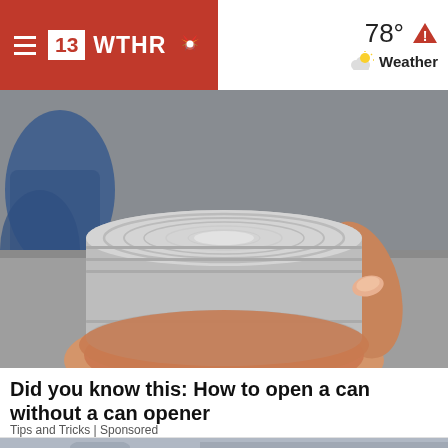13 WTHR — 78° Weather
[Figure (photo): Close-up of a hand holding the bottom of a silver tin can, showing the ridged circular base, with blurred blue objects in the background on a gray surface.]
Did you know this: How to open a can without a can opener
Tips and Tricks | Sponsored
[Figure (photo): Partial image of a woman with dark hair against a digital/tech themed background with other people visible in the background.]